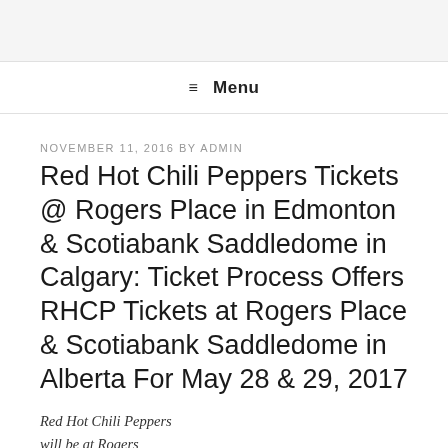≡ Menu
NOVEMBER 11, 2016 BY ADMIN
Red Hot Chili Peppers Tickets @ Rogers Place in Edmonton & Scotiabank Saddledome in Calgary: Ticket Process Offers RHCP Tickets at Rogers Place & Scotiabank Saddledome in Alberta For May 28 & 29, 2017
Red Hot Chili Peppers will be at Rogers